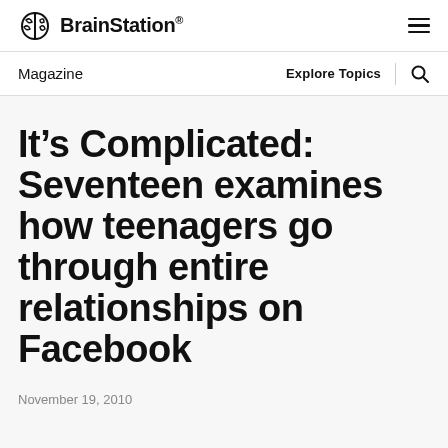BrainStation®
Magazine
Explore Topics
It’s Complicated: Seventeen examines how teenagers go through entire relationships on Facebook
November 19, 2010